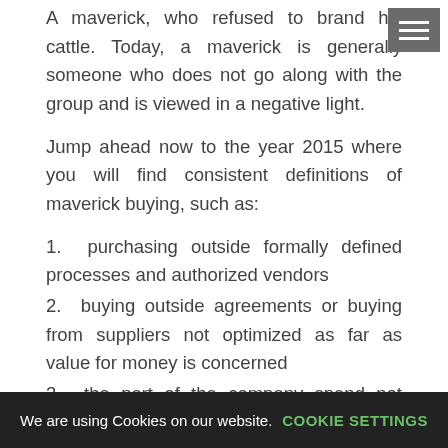A maverick, who refused to brand his cattle. Today, a maverick is generally someone who does not go along with the group and is viewed in a negative light.
Jump ahead now to the year 2015 where you will find consistent definitions of maverick buying, such as:
1.  purchasing outside formally defined processes and authorized vendors
2.  buying outside agreements or buying from suppliers not optimized as far as value for money is concerned
3.  the part of the company spend not covered by formal rules and processes
4.  off contract purchasing despite the presence of an established...
We are using Cookies on our website.   COOKIE SETTINGS